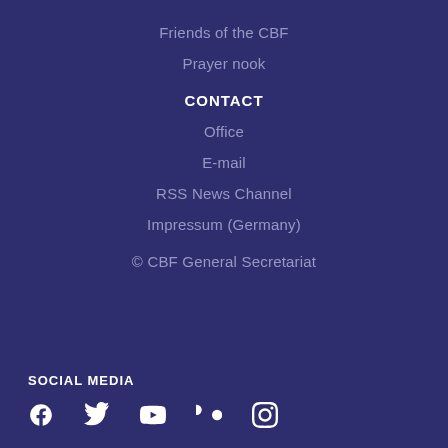Friends of the CBF
Prayer nook
CONTACT
Office
E-mail
RSS News Channel
Impressum (Germany)
© CBF General Secretariat
SOCIAL MEDIA
[Figure (infographic): Social media icons: Facebook, Twitter, YouTube, Flickr, Instagram]